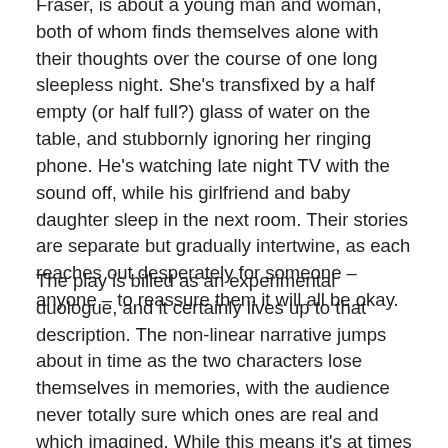Fraser, is about a young man and woman, both of whom finds themselves alone with their thoughts over the course of one long sleepless night. She's transfixed by a half empty (or half full?) glass of water on the table, and stubbornly ignoring her ringing phone. He's watching late night TV with the sound off, while his girlfriend and baby daughter sleep in the next room. Their stories are separate but gradually intertwine, as each reaches out desperately for someone – anyone – to reassure them it will all be okay.
The play is billed as an experimental duologue, and it certainly lives up to that description. The non-linear narrative jumps about in time as the two characters lose themselves in memories, with the audience never totally sure which ones are real and which imagined. While this means it's at times difficult to pin down where in the timeline we are, the deliberately disorienting effect it creates...